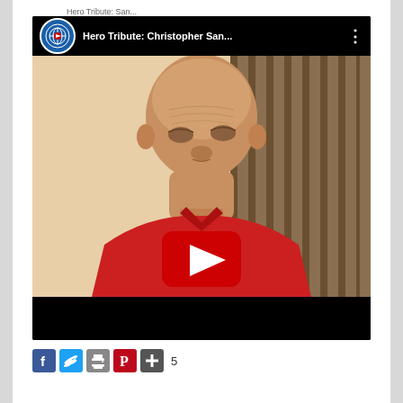Hero Tribute: Christopher San...
[Figure (screenshot): YouTube video embed showing an elderly man in a red shirt seated in a striped chair, with a YouTube play button overlay. Video title: Hero Tribute: Christopher San... with a National Faith Freedom Foundation logo.]
[Figure (infographic): Social share bar with Facebook (blue), Twitter (light blue), print (gray), Pinterest (red), and plus (+) icons, followed by the number 5.]